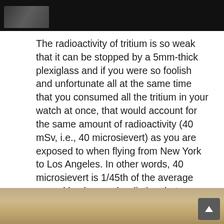[Figure (photo): Dark background photo, partially visible object at bottom left, cropped at top of page]
The radioactivity of tritium is so weak that it can be stopped by a 5mm-thick plexiglass and if you were so foolish and unfortunate all at the same time that you consumed all the tritium in your watch at once, that would account for the same amount of radioactivity (40 mSv, i.e., 40 microsievert) as you are exposed to when flying from New York to Los Angeles. In other words, 40 microsievert is 1/45th of the average annual background radiation that you are exposed to each year. And so, while it certainly is not recommendable to consume the tritium from your watch indices and hands, if it were to happen, you would still be fine.
[Figure (photo): Partial photo at bottom of page showing warm-toned blurry background, with a scroll-to-top button in bottom right corner]